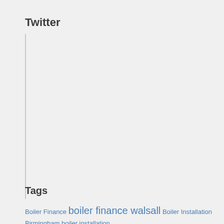Twitter
Tags
Boiler Finance boiler finance walsall Boiler Installation Birmingham boiler installation